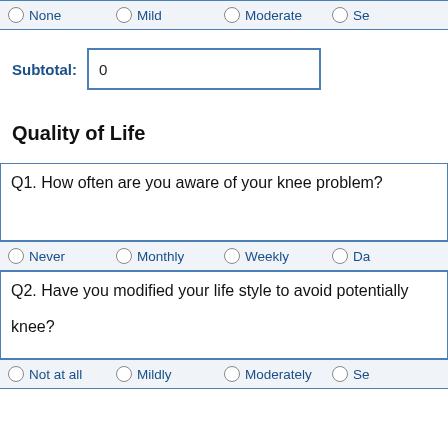None   Mild   Moderate   Se...
Subtotal: 0
Quality of Life
Q1. How often are you aware of your knee problem?
Never   Monthly   Weekly   Da...
Q2. Have you modified your life style to avoid potentially... knee?
Not at all   Mildly   Moderately   Se...